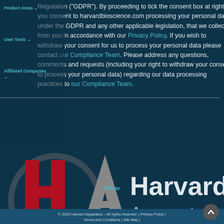Product Areas
User Tools
Affiliated Companies
Regulation ("GDPR"). By proceeding to tick the consent box at right, you consent to harvardbioscience.com processing your personal data, under the GDPR and any other applicable legislation, that we collect from you in accordance with our Privacy Policy. If you wish to withdraw your consent for us to process your personal data please contact our Compliance Team. Please address any questions, comments and requests (including your right to withdraw your consent to process your personal data) regarding our data processing practices to our Compliance Team.
[Figure (logo): Harvard Apparatus logo with large red H and A letters and Harvard Apparatus wordmark on dark teal background]
Allow
© 2020 Harvard Apparatus – All rights reserved. | Privacy Policy | Terms and Conditions | Site Map |